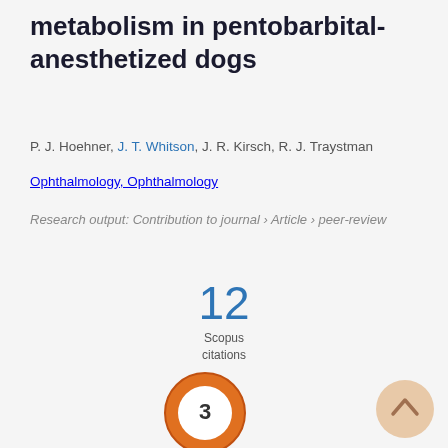metabolism in pentobarbital-anesthetized dogs
P. J. Hoehner, J. T. Whitson, J. R. Kirsch, R. J. Traystman
Ophthalmology, Ophthalmology
Research output: Contribution to journal › Article › peer-review
[Figure (infographic): Scopus citations badge showing 12 citations]
[Figure (donut-chart): Donut chart badge showing number 3, orange ring with white center]
[Figure (other): Scroll-to-top button, peach/tan circle with upward chevron]